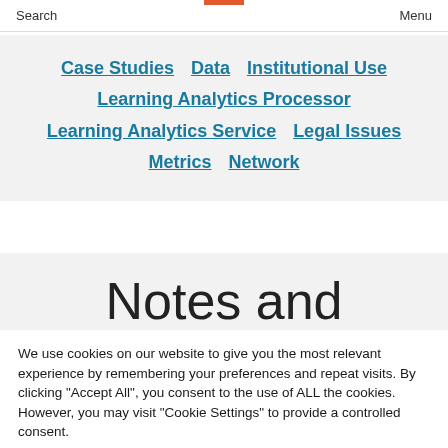Search   Menu
Case Studies
Data
Institutional Use
Learning Analytics Processor
Learning Analytics Service
Legal Issues
Metrics
Network
Notes and
We use cookies on our website to give you the most relevant experience by remembering your preferences and repeat visits. By clicking "Accept All", you consent to the use of ALL the cookies. However, you may visit "Cookie Settings" to provide a controlled consent.
Cookie Settings   Accept All